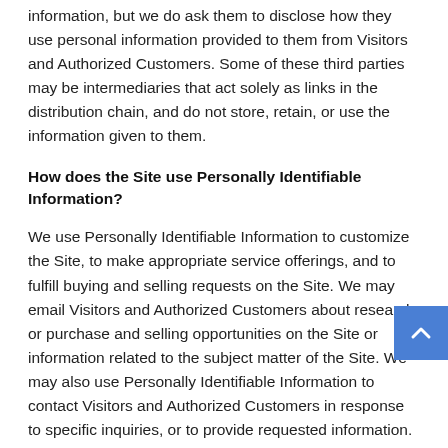information, but we do ask them to disclose how they use personal information provided to them from Visitors and Authorized Customers. Some of these third parties may be intermediaries that act solely as links in the distribution chain, and do not store, retain, or use the information given to them.
How does the Site use Personally Identifiable Information?
We use Personally Identifiable Information to customize the Site, to make appropriate service offerings, and to fulfill buying and selling requests on the Site. We may email Visitors and Authorized Customers about research or purchase and selling opportunities on the Site or information related to the subject matter of the Site. We may also use Personally Identifiable Information to contact Visitors and Authorized Customers in response to specific inquiries, or to provide requested information.
What else is the information used for?